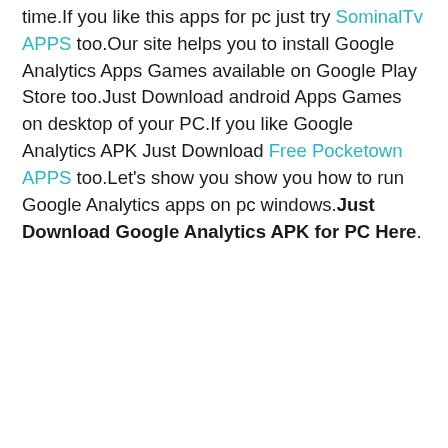time.If you like this apps for pc just try SominalTv APPS too.Our site helps you to install Google Analytics Apps Games available on Google Play Store too.Just Download android Apps Games on desktop of your PC.If you like Google Analytics APK Just Download Free Pocketown APPS too.Let's show you show you how to run Google Analytics apps on pc windows.Just Download Google Analytics APK for PC Here.